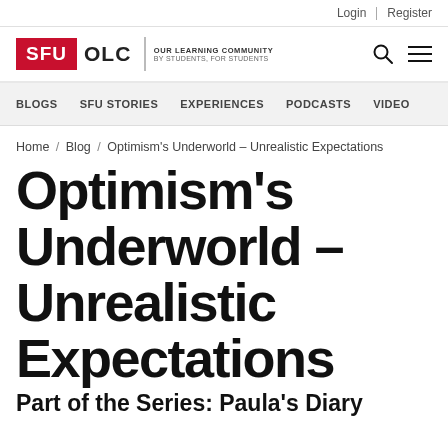Login | Register
[Figure (logo): SFU OLC Our Learning Community - By Students, For Students logo with search and menu icons]
BLOGS  SFU STORIES  EXPERIENCES  PODCASTS  VIDEO
Home / Blog / Optimism's Underworld – Unrealistic Expectations
Optimism's Underworld – Unrealistic Expectations
Part of the Series: Paula's Diary